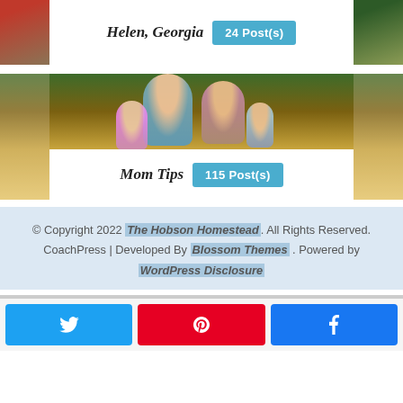[Figure (photo): Helen, Georgia location photo strip with partial images on left and right, white overlay in center]
Helen, Georgia  24 Post(s)
[Figure (photo): Family photo in a golden wheat field — man, woman, and children smiling — with white overlay at bottom center]
Mom Tips  115 Post(s)
© Copyright 2022 The Hobson Homestead. All Rights Reserved. CoachPress | Developed By Blossom Themes . Powered by WordPress Disclosure
[Figure (other): Social share buttons: Twitter (blue), Pinterest (red), Facebook (dark blue)]